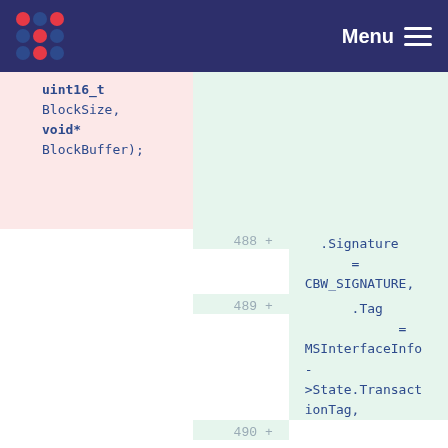Menu
uint16_t BlockSize,
void* BlockBuffer);
488 +  .Signature = CBW_SIGNATURE,
489 +  .Tag = MSInterfaceInfo->State.TransactionTag,
490 +